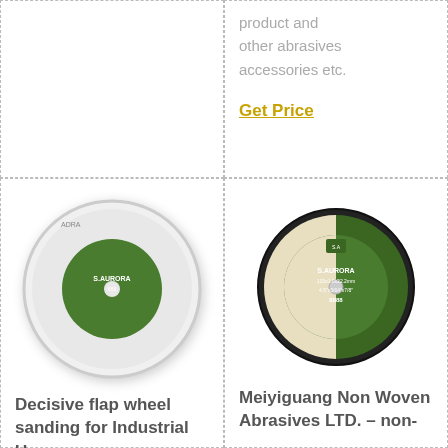product and other abrasives accessories etc.
Get Price
[Figure (photo): White grinding wheel disc with green S.Aurora branded center label]
[Figure (photo): Dark cutting disc with green S.Aurora branded label]
Decisive flap wheel sanding for Industrial Uses –
Meiyiguang Non Woven Abrasives LTD. – non-